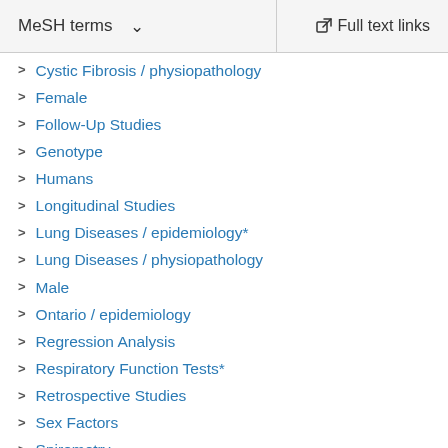MeSH terms  ∨    Full text links
Cystic Fibrosis / physiopathology
Female
Follow-Up Studies
Genotype
Humans
Longitudinal Studies
Lung Diseases / epidemiology*
Lung Diseases / physiopathology
Male
Ontario / epidemiology
Regression Analysis
Respiratory Function Tests*
Retrospective Studies
Sex Factors
Spirometry
Survival Rate